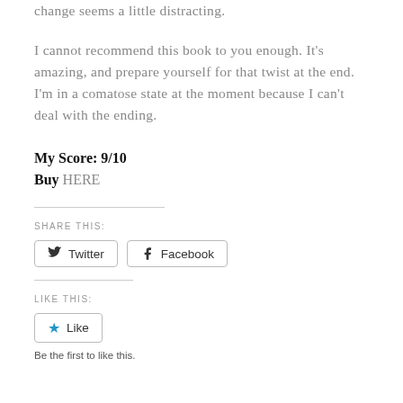change seems a little distracting.
I cannot recommend this book to you enough. It's amazing, and prepare yourself for that twist at the end. I'm in a comatose state at the moment because I can't deal with the ending.
My Score: 9/10
Buy HERE
SHARE THIS:
[Figure (other): Twitter and Facebook share buttons]
LIKE THIS:
[Figure (other): Like button with star icon]
Be the first to like this.